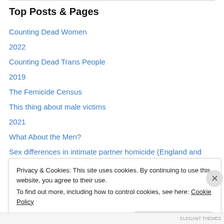Top Posts & Pages
Counting Dead Women
2022
Counting Dead Trans People
2019
The Femicide Census
This thing about male victims
2021
What About the Men?
Sex differences in intimate partner homicide (England and Wales) April 2009 to March 2020
Privacy & Cookies: This site uses cookies. By continuing to use this website, you agree to their use.
To find out more, including how to control cookies, see here: Cookie Policy
Close and accept